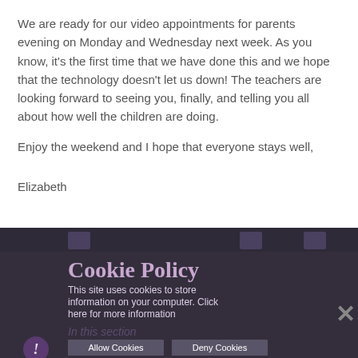We are ready for our video appointments for parents evening on Monday and Wednesday next week. As you know, it's the first time that we have done this and we hope that the technology doesn't let us down! The teachers are looking forward to seeing you, finally, and telling you all about how well the children are doing.
Enjoy the weekend and I hope that everyone stays well,
Elizabeth
[Figure (screenshot): Cookie policy banner overlay on dark purple/grey website footer. Shows 'Cookie Policy' heading, descriptive text, Allow Cookies and Deny Cookies buttons, a close X button, 'In this section' text, and an exclamation mark icon. Social media icons visible in background.]